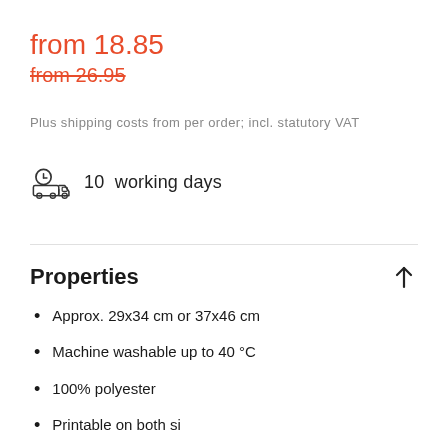from 18.85
from 26.95
Plus shipping costs from per order; incl. statutory VAT
10  working days
Properties
Approx. 29x34 cm or 37x46 cm
Machine washable up to 40 °C
100% polyester
Printable on both sides